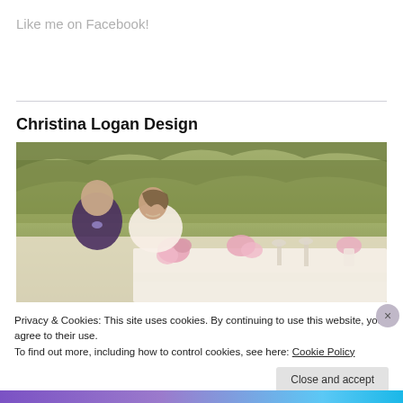Like me on Facebook!
Christina Logan Design
[Figure (photo): A couple seated outdoors at a decorated table with flowers, surrounded by natural greenery and trees.]
Privacy & Cookies: This site uses cookies. By continuing to use this website, you agree to their use.
To find out more, including how to control cookies, see here: Cookie Policy
Close and accept